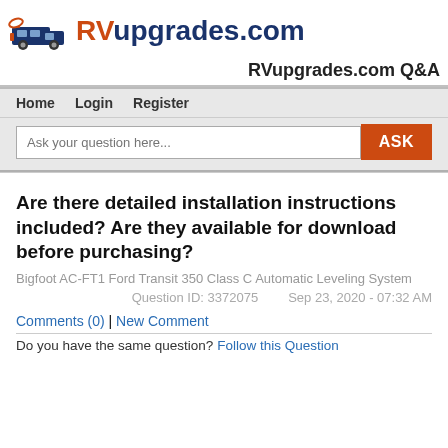RV upgrades.com
RVupgrades.com Q&A
Home   Login   Register
Ask your question here...   ASK
Are there detailed installation instructions included? Are they available for download before purchasing?
Bigfoot AC-FT1 Ford Transit 350 Class C Automatic Leveling System
Question ID: 3372075   Sep 23, 2020 - 07:32 AM
Comments (0) | New Comment
Do you have the same question? Follow this Question